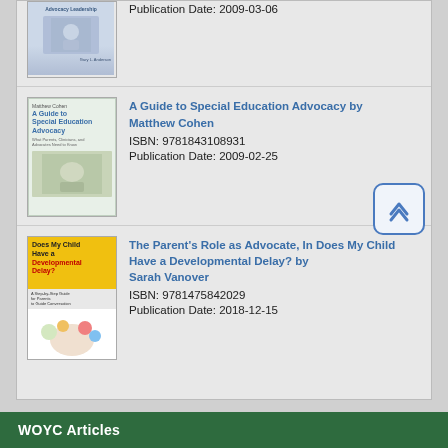[Figure (photo): Book cover for Advocacy Leadership (partially visible at top)]
Publication Date: 2009-03-06
[Figure (photo): Book cover for A Guide to Special Education Advocacy by Matthew Cohen]
A Guide to Special Education Advocacy by Matthew Cohen
ISBN: 9781843108931
Publication Date: 2009-02-25
[Figure (photo): Book cover for Does My Child Have a Developmental Delay? by Sarah Vanover]
The Parent's Role as Advocate, In Does My Child Have a Developmental Delay? by Sarah Vanover
ISBN: 9781475842029
Publication Date: 2018-12-15
WOYC Articles